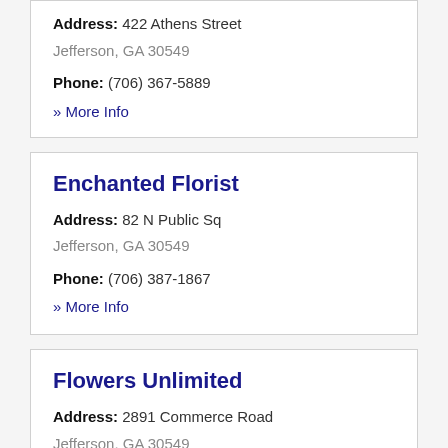Address: 422 Athens Street
Jefferson, GA 30549
Phone: (706) 367-5889
» More Info
Enchanted Florist
Address: 82 N Public Sq
Jefferson, GA 30549
Phone: (706) 387-1867
» More Info
Flowers Unlimited
Address: 2891 Commerce Road
Jefferson, GA 30549